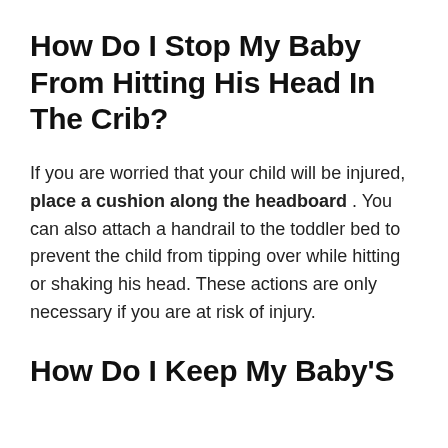How Do I Stop My Baby From Hitting His Head In The Crib?
If you are worried that your child will be injured, place a cushion along the headboard . You can also attach a handrail to the toddler bed to prevent the child from tipping over while hitting or shaking his head. These actions are only necessary if you are at risk of injury.
How Do I Keep My Baby'S